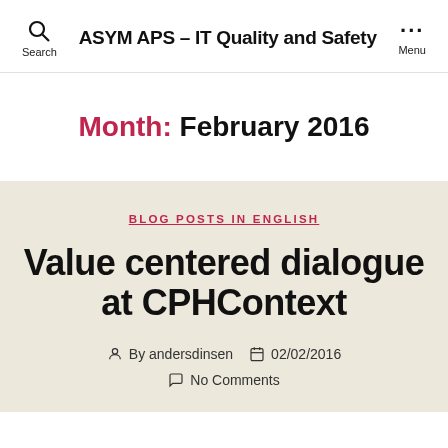ASYM APS - IT Quality and Safety
Month: February 2016
BLOG POSTS IN ENGLISH
Value centered dialogue at CPHContext
By andersdinsen  02/02/2016  No Comments